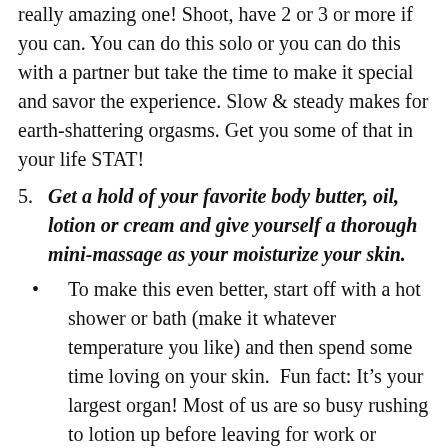Speaking of orgasms, make it a point to have a really amazing one! Shoot, have 2 or 3 or more if you can. You can do this solo or you can do this with a partner but take the time to make it special and savor the experience. Slow & steady makes for earth-shattering orgasms. Get you some of that in your life STAT!
5. Get a hold of your favorite body butter, oil, lotion or cream and give yourself a thorough mini-massage as your moisturize your skin.
To make this even better, start off with a hot shower or bath (make it whatever temperature you like) and then spend some time loving on your skin.  Fun fact: It's your largest organ! Most of us are so busy rushing to lotion up before leaving for work or before heading to bed because you have to get up in the morning that we don't take the time to really notice what our skin feels